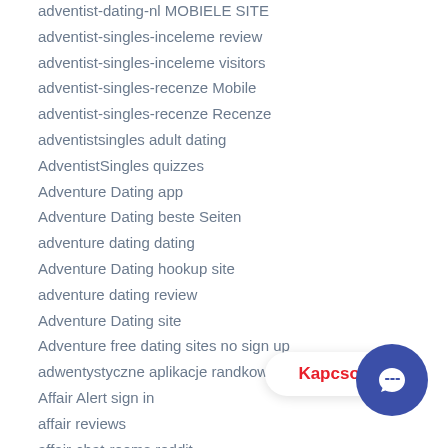adventist-dating-nl MOBIELE SITE
adventist-singles-inceleme review
adventist-singles-inceleme visitors
adventist-singles-recenze Mobile
adventist-singles-recenze Recenze
adventistsingles adult dating
AdventistSingles quizzes
Adventure Dating app
Adventure Dating beste Seiten
adventure dating dating
Adventure Dating hookup site
adventure dating review
Adventure Dating site
Adventure free dating sites no sign up
adwentystyczne aplikacje randkowe
Affair Alert sign in
affair reviews
affair-chat-rooms reddit
affair-dating search
Affairdating.com review
Affair Singles de…